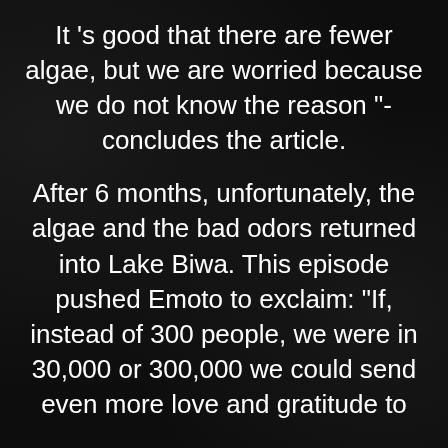It 's good that there are fewer algae, but we are worried because we do not know the reason "- concludes the article.
After 6 months, unfortunately, the algae and the bad odors returned into Lake Biwa. This episode pushed Emoto to exclaim: "If, instead of 300 people, we were in 30,000 or 300,000 we could send even more love and gratitude to